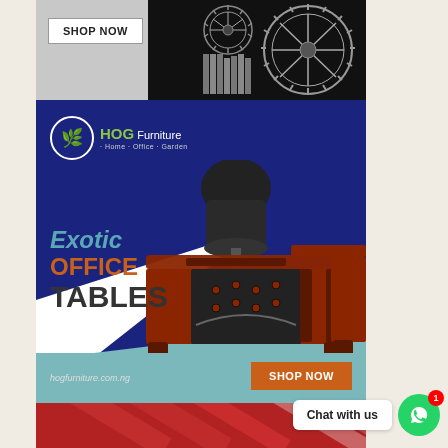[Figure (screenshot): Top advertisement banner with 'SHOP NOW' button on left grey area and mechanical gears on black background on right]
[Figure (illustration): HOG Furniture advertisement showing exotic office tables with blue and white diagonal background, logo, desk product image, and shop now button. URL: hogfurniture.com.ng]
[Figure (photo): Bottom portion showing red/crimson fabric or material with diagonal stripe pattern]
Chat with us